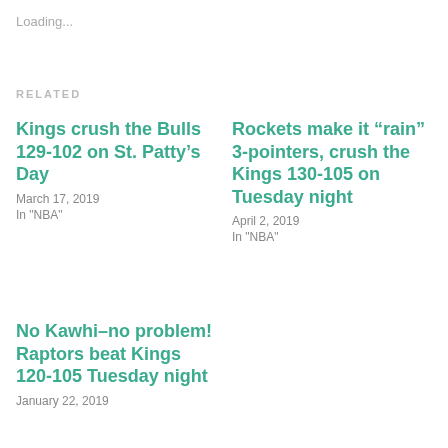Loading...
RELATED
Kings crush the Bulls 129-102 on St. Patty’s Day
March 17, 2019
In "NBA"
Rockets make it “rain” 3-pointers, crush the Kings 130-105 on Tuesday night
April 2, 2019
In "NBA"
No Kawhi–no problem! Raptors beat Kings 120-105 Tuesday night
January 22, 2019